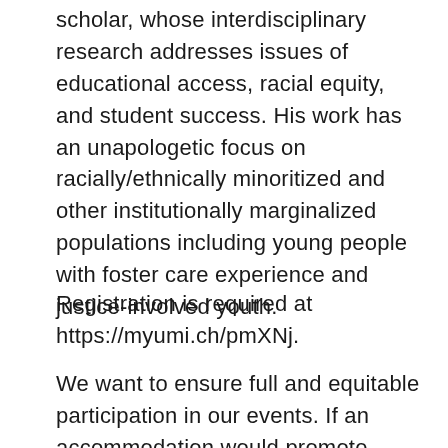scholar, whose interdisciplinary research addresses issues of educational access, racial equity, and student success. His work has an unapologetic focus on racially/ethnically minoritized and other institutionally marginalized populations including young people with foster care experience and justice-involved youth.
Registration is required at https://myumi.ch/pmXNj.
We want to ensure full and equitable participation in our events. If an accommodation would promote